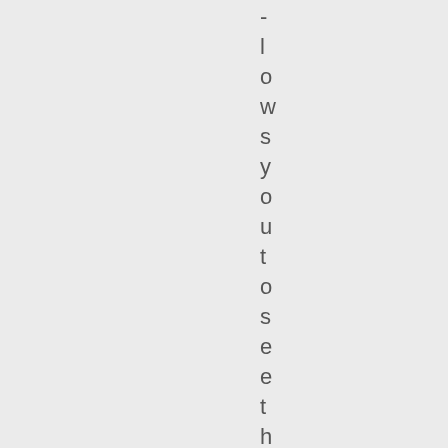- l o w s y o u t o s e e t h e .